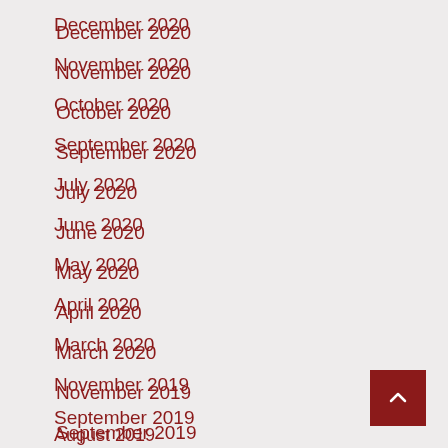December 2020
November 2020
October 2020
September 2020
July 2020
June 2020
May 2020
April 2020
March 2020
November 2019
September 2019
August 2019